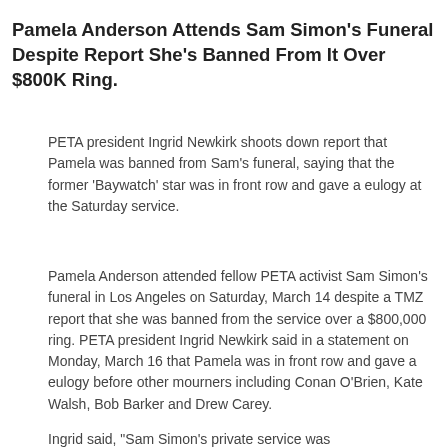Pamela Anderson Attends Sam Simon's Funeral Despite Report She's Banned From It Over $800K Ring.
PETA president Ingrid Newkirk shoots down report that Pamela was banned from Sam's funeral, saying that the former 'Baywatch' star was in front row and gave a eulogy at the Saturday service.
Pamela Anderson attended fellow PETA activist Sam Simon's funeral in Los Angeles on Saturday, March 14 despite a TMZ report that she was banned from the service over a $800,000 ring. PETA president Ingrid Newkirk said in a statement on Monday, March 16 that Pamela was in front row and gave a eulogy before other mourners including Conan O'Brien, Kate Walsh, Bob Barker and Drew Carey.
Ingrid said, "Sam Simon's private service was